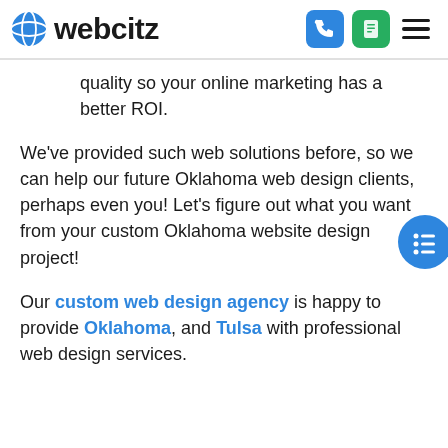webcitz
quality so your online marketing has a better ROI.
We've provided such web solutions before, so we can help our future Oklahoma web design clients, perhaps even you! Let's figure out what you want from your custom Oklahoma website design project!
Our custom web design agency is happy to provide Oklahoma, and Tulsa with professional web design services.